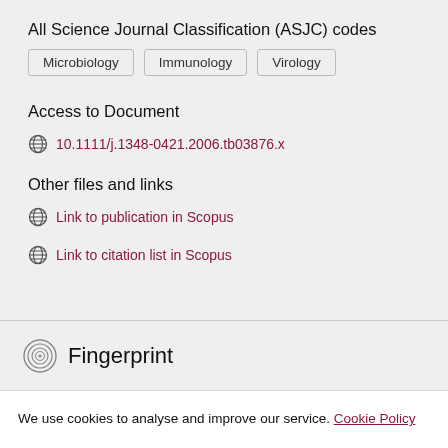All Science Journal Classification (ASJC) codes
Microbiology
Immunology
Virology
Access to Document
10.1111/j.1348-0421.2006.tb03876.x
Other files and links
Link to publication in Scopus
Link to citation list in Scopus
Fingerprint
We use cookies to analyse and improve our service. Cookie Policy